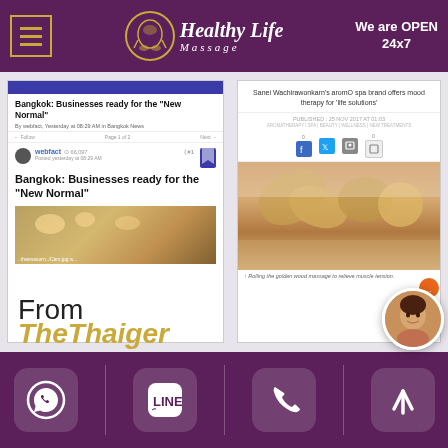Healthy Life Massage — We are OPEN 24x7
[Figure (screenshot): Screenshot of Bangkok News post: 'Bangkok: Businesses ready for the New Normal' by webfact, Yesterday at 08:29 AM in Bangkok News, with a photo of a venue interior]
[Figure (screenshot): Screenshot of article: 'Sanei Wachirawonkarn's aromO spa brand offers mood therapy for life solutions', published 25 NOV 2017 at 01:03, with an image of golden wood massage tools being applied to a person's back, caption: 'Rolling the golden wood massage to relieve muscle tension.']
From
TheThaiger
[Figure (infographic): Footer with four icons on purple background: WhatsApp icon, LINE icon, phone call icon, and up-arrow icon. A circular chat avatar of a woman is in the lower right.]